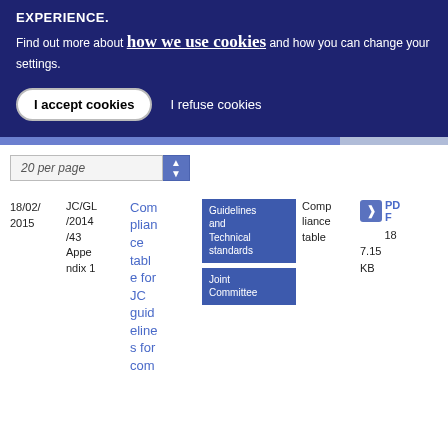EXPERIENCE.
Find out more about how we use cookies and how you can change your settings.
I accept cookies
I refuse cookies
[Figure (screenshot): Progress bar / navigation element]
20 per page
| Date | Reference | Title | Category | Type | Format |
| --- | --- | --- | --- | --- | --- |
| 18/02/2015 | JC/GL/2014/43 Appendix 1 | Compliance table for JC guidelines for com... | Guidelines and Technical standards | Compliance table | PDF 18 7.15 KB |
Joint Committee